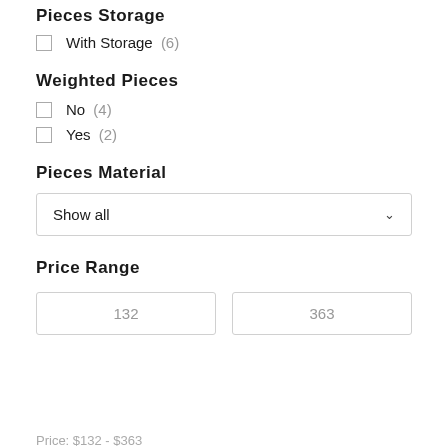Pieces Storage
With Storage (6)
Weighted Pieces
No (4)
Yes (2)
Pieces Material
Show all
Price Range
132
363
Price: $132 - $363